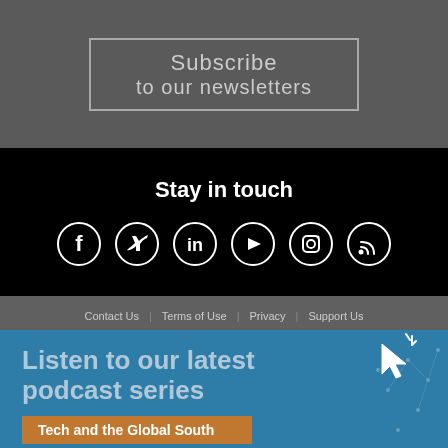Subscribe to our newsletters
Stay in touch
[Figure (infographic): Social media icons in white circles: Facebook, Twitter, LinkedIn, YouTube, Instagram, RSS]
Contact Us  Terms of Use  Privacy  Support Us
Listen to our latest podcast series
Tech and the Global South